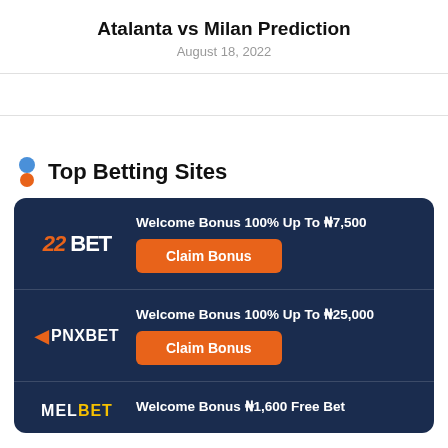Atalanta vs Milan Prediction
August 18, 2022
Top Betting Sites
Welcome Bonus 100% Up To ₦7,500
Claim Bonus
Welcome Bonus 100% Up To ₦25,000
Claim Bonus
Welcome Bonus ₦1,600 Free Bet